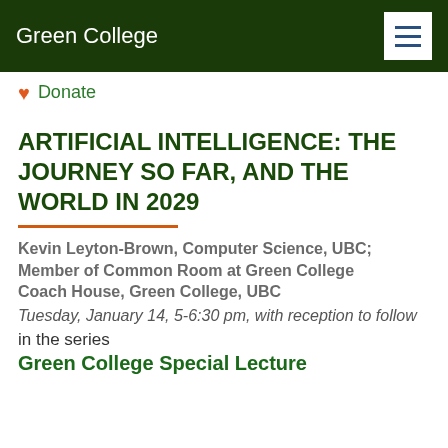Green College
Donate
ARTIFICIAL INTELLIGENCE: THE JOURNEY SO FAR, AND THE WORLD IN 2029
Kevin Leyton-Brown, Computer Science, UBC; Member of Common Room at Green College
Coach House, Green College, UBC
Tuesday, January 14, 5-6:30 pm, with reception to follow
in the series
Green College Special Lecture